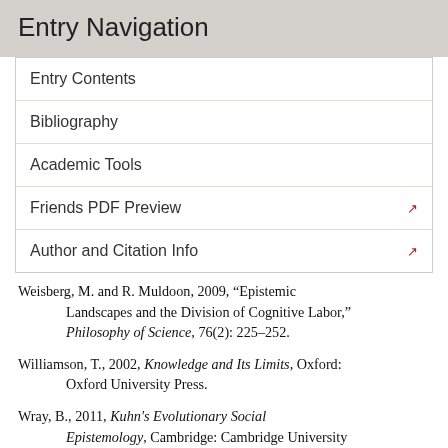Entry Navigation
Entry Contents
Bibliography
Academic Tools
Friends PDF Preview
Author and Citation Info
Weisberg, M. and R. Muldoon, 2009, “Epistemic Landscapes and the Division of Cognitive Labor,” Philosophy of Science, 76(2): 225–252.
Williamson, T., 2002, Knowledge and Its Limits, Oxford: Oxford University Press.
Wray, B., 2011, Kuhn's Evolutionary Social Epistemology, Cambridge: Cambridge University Press.
Zollman, K.J.S., 2005, “Talking to Neighbors: The Evolution of Regional Meaning,” Philosophy of Science, 72(1): 69–85.